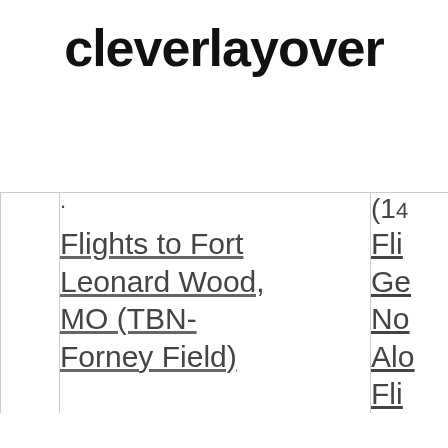cleverlayover
|  | Flights to Fort Leonard Wood, MO (TBN-Forney Field) | Fli Ge No Alo Fli |